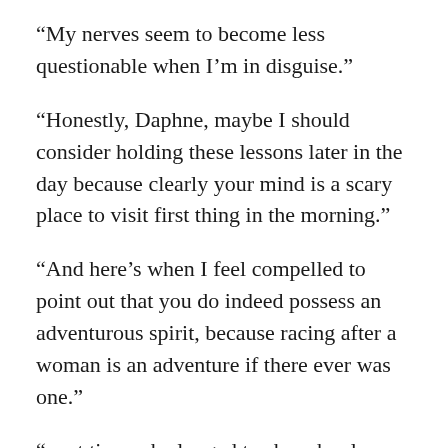“My nerves seem to become less questionable when I’m in disguise.”
“Honestly, Daphne, maybe I should consider holding these lessons later in the day because clearly your mind is a scary place to visit first thing in the morning.”
“And here’s when I feel compelled to point out that you do indeed possess an adventurous spirit, because racing after a woman is an adventure if there ever was one.”
“…at times she longed to share her love of the written word with someone who loved words as well, someone who wouldn’t mock her for choosing a profession that wasn’t considered acceptable for women…”